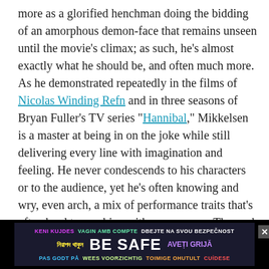more as a glorified henchman doing the bidding of an amorphous demon-face that remains unseen until the movie's climax; as such, he's almost exactly what he should be, and often much more. As he demonstrated repeatedly in the films of Nicolas Winding Refn and in three seasons of Bryan Fuller's TV series "Hannibal," Mikkelsen is a master at being in on the joke while still delivering every line with imagination and feeling. He never condescends to his characters or to the audience, yet he's often knowing and wry, even arch, a mix of performance traits that's often hard to combine with any success. The peak of his performance is the scene where Strange trusses him up in some kind of medieval bondage suit, and he delivers a passionate monologue about his master's glorious integrity, the Ancient One's hypocrisy, and the fate of the universe, tears spilling over his circa 1970 David Bowie pansexual guyliner. He's majestic: Pagliacci and Dr. Frank N. Furter in the body of a metrosexual
[Figure (infographic): BE SAFE multilingual public safety advertisement banner with colorful text in multiple languages including Bengali, Catalan, Czech, Romanian, Norwegian, Estonian, Spanish, and English. Black background with close button.]